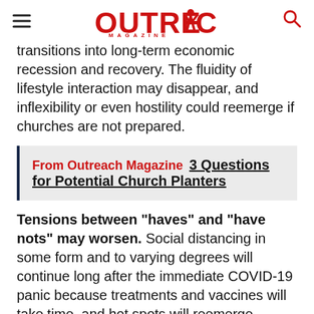Outreach Magazine
transitions into long-term economic recession and recovery. The fluidity of lifestyle interaction may disappear, and inflexibility or even hostility could reemerge if churches are not prepared.
From Outreach Magazine  3 Questions for Potential Church Planters
Tensions between “haves” and “have nots” may worsen. Social distancing in some form and to varying degrees will continue long after the immediate COVID-19 panic because treatments and vaccines will take time, and hot spots will reemerge. Rising anger among younger, poorer